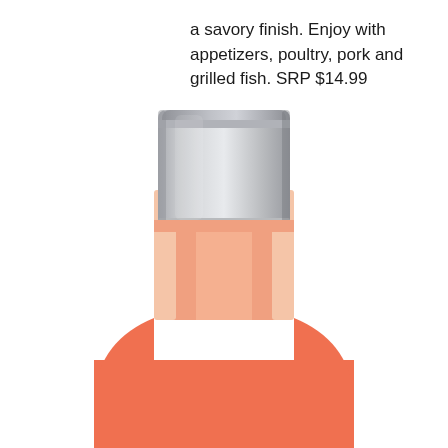a savory finish. Enjoy with appetizers, poultry, pork and grilled fish. SRP $14.99
[Figure (photo): Close-up of a wine bottle neck and upper shoulder. The bottle has a silver/metallic capsule/foil cap at the top, and the body of the bottle contains a salmon-pink rosé wine. The bottle is photographed against a white background.]